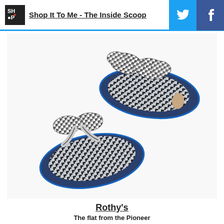Shop It To Me - The Inside Scoop
[Figure (photo): Overhead view of two navy blue Rothy's flat shoes with black and white houndstooth/gingham bow accents and houndstooth interior lining, displayed sole-up on a white background.]
Rothy's
The flat from the Pioneer